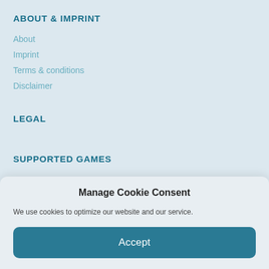ABOUT & IMPRINT
About
Imprint
Terms & conditions
Disclaimer
LEGAL
SUPPORTED GAMES
Manage Cookie Consent
We use cookies to optimize our website and our service.
Accept